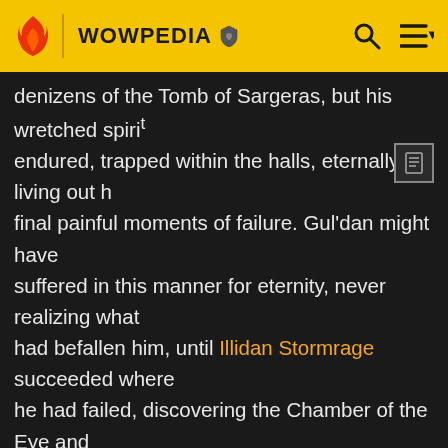WOWPEDIA
denizens of the Tomb of Sargeras, but his wretched spirit endured, trapped within the halls, eternally living out h final painful moments of failure. Gul'dan might have suffered in this manner for eternity, never realizing what had befallen him, until Illidan Stormrage succeeded where he had failed, discovering the Chamber of the Eye and claiming the burning Eye of Sargeras within it. This act 'awoke' Gul'dan's spirit, shattering it into fragmented wraiths, each bearing a portion of the orc's knowledge and memories. Slowly, these wraiths have fed upon the endless hatred of those trapped within the Tomb, gathering their strength and uniting one by one, until at last the soul of Gul'dan is once again strong enough to make one last, desperate grasp at ultimate power...